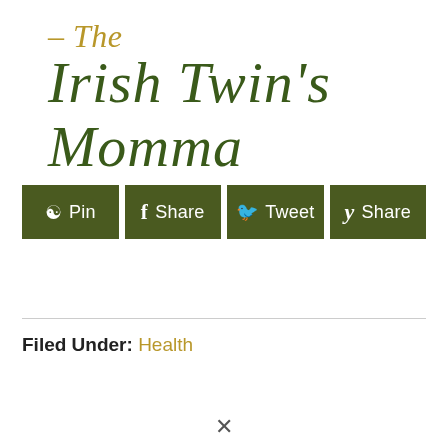– The Irish Twin's Momma
[Figure (infographic): Social sharing buttons: Pin, Share (Facebook), Tweet, Share (Yummly) in dark olive green]
Filed Under: Health